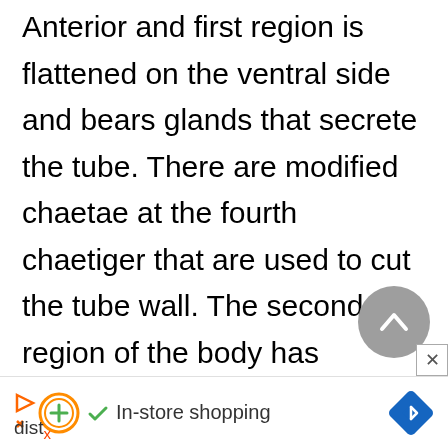Anterior and first region is flattened on the ventral side and bears glands that secrete the tube. There are modified chaetae at the fourth chaetiger that are used to cut the tube wall. The second region of the body has winglike, modified notopodial lobes that secrete the mucus where the suspended particles are trapped. The third region is longer and distinctly segmented. Some parts of the body are phosphorescent.